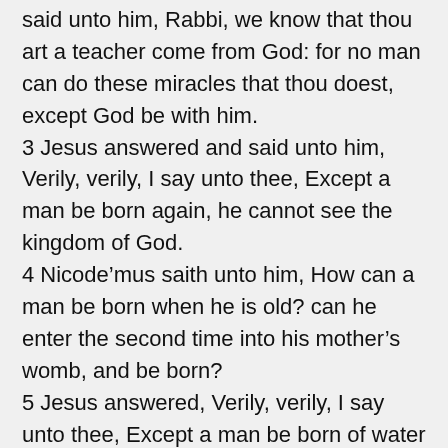said unto him, Rabbi, we know that thou art a teacher come from God: for no man can do these miracles that thou doest, except God be with him.
3 Jesus answered and said unto him, Verily, verily, I say unto thee, Except a man be born again, he cannot see the kingdom of God.
4 Nicode’mus saith unto him, How can a man be born when he is old? can he enter the second time into his mother’s womb, and be born?
5 Jesus answered, Verily, verily, I say unto thee, Except a man be born of water and of the Spirit, he cannot enter into the kingdom of God.